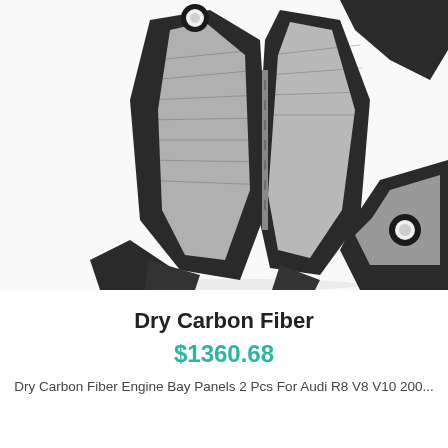[Figure (photo): Two dry carbon fiber engine bay panels for Audi R8, photographed against a white background. The panels are dark/black carbon fiber with grey inner surfaces, shaped with mounting holes and angular cutouts.]
Dry Carbon Fiber
$1360.68
Dry Carbon Fiber Engine Bay Panels 2 Pcs For Audi R8 V8 V10 200...